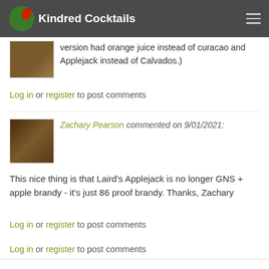Kindred Cocktails
version had orange juice instead of curacao and Applejack instead of Calvados.)
Log in or register to post comments
Zachary Pearson commented on 9/01/2021:
This nice thing is that Laird's Applejack is no longer GNS + apple brandy - it's just 86 proof brandy. Thanks, Zachary
Log in or register to post comments
Log in or register to post comments